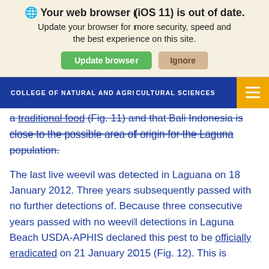Your web browser (iOS 11) is out of date. Update your browser for more security, speed and the best experience on this site.
COLLEGE OF NATURAL AND AGRICULTURAL SCIENCES
a traditional food (Fig. 11) and that Bali Indonesia is close to the possible area of origin for the Laguna population.
The last live weevil was detected in Laguana on 18 January 2012. Three years subsequently passed with no further detections of. Because three consecutive years passed with no weevil detections in Laguna Beach USDA-APHIS declared this pest to be officially eradicated on 21 January 2015 (Fig. 12). This is